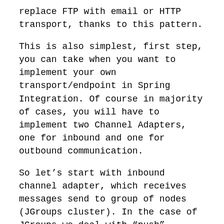replace FTP with email or HTTP transport, thanks to this pattern.
This is also simplest, first step, you can take when you want to implement your own transport/endpoint in Spring Integration. Of course in majority of cases, you will have to implement two Channel Adapters, one for inbound and one for outbound communication.
So let's start with inbound channel adapter, which receives messages send to group of nodes (JGroups cluster). In the case of JGroups we deal with “push” communication.Out of many abstract endpoint implementations and styles available in Spring Integration, org.springframework.integration.endpoint.MessageProducerSupport looked like a most obvious choice.